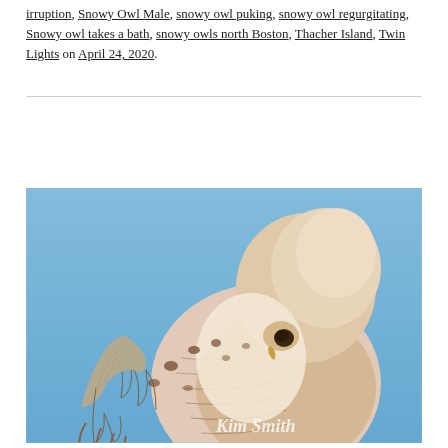irruption, Snowy Owl Male, snowy owl puking, snowy owl regurgitating, Snowy owl takes a bath, snowy owls north Boston, Thacher Island, Twin Lights on April 24, 2020.
[Figure (photo): Close-up photograph of a snowy owl grooming itself against a blue sky background. The owl's white and brown-speckled feathers are prominently displayed. A watermark reading 'Kim Smith' appears in the lower right corner.]